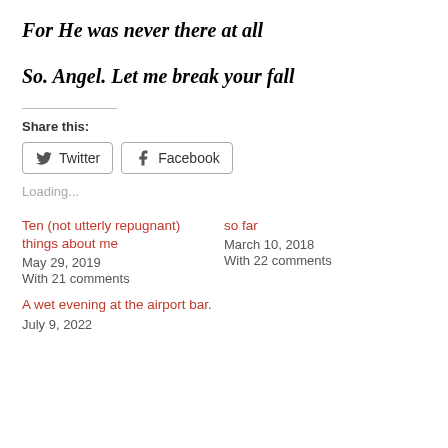For He was never there at all
So. Angel. Let me break your fall
Share this:
Twitter  Facebook
Loading...
Ten (not utterly repugnant) things about me
May 29, 2019
With 21 comments
so far
March 10, 2018
With 22 comments
A wet evening at the airport bar.
July 9, 2022